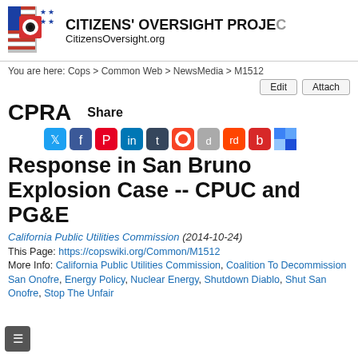[Figure (logo): Citizens' Oversight Project logo with American flag stripes, eye, and stars]
CITIZENS' OVERSIGHT PROJECT CitizensOversight.org
You are here: Cops > Common Web > NewsMedia > M1512
Edit   Attach
CPRA
Share
[Figure (infographic): Social media sharing icons: Twitter, Facebook, Pinterest, LinkedIn, Tumblr, StumbleUpon, Digg, Reddit, Bebo, Delicious]
Response in San Bruno Explosion Case -- CPUC and PG&E
California Public Utilities Commission (2014-10-24)
This Page: https://copswiki.org/Common/M1512
More Info: California Public Utilities Commission, Coalition To Decommission San Onofre, Energy Policy, Nuclear Energy, Shutdown Diablo, Shut San Onofre, Stop The Unfair